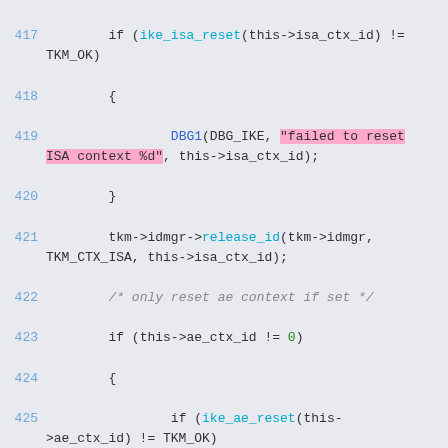[Figure (screenshot): Source code viewer showing C code lines 417-435 with syntax highlighting. Line numbers in blue, function names in cyan/blue, string literals highlighted in pink, numeric literals in green, comments in gray italic. Background is light gray/blue.]